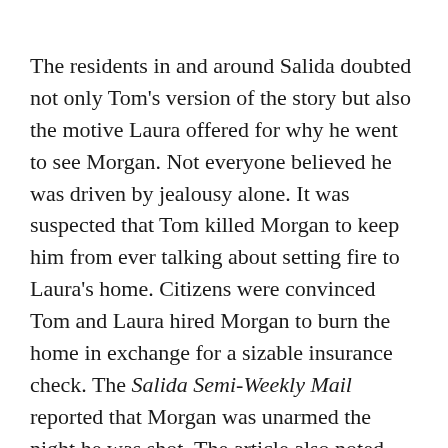The residents in and around Salida doubted not only Tom's version of the story but also the motive Laura offered for why he went to see Morgan. Not everyone believed he was driven by jealousy alone. It was suspected that Tom killed Morgan to keep him from ever talking about setting fire to Laura's home. Citizens were convinced Tom and Laura hired Morgan to burn the home in exchange for a sizable insurance check. The Salida Semi-Weekly Mail reported that Morgan was unarmed the night he was shot. The article also noted that he had been recovering from a broken arm and collarbone, injuries he had sustained in a bar fight.
When Morgan's wife, who was living in New York at the time of his demise, eventually learned about her